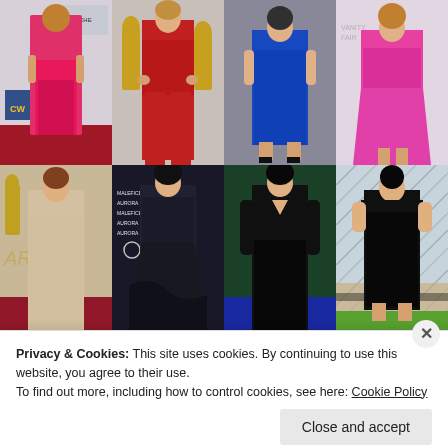[Figure (photo): Grid of 8 celebrity fashion photos arranged in 2 rows of 4. Top row: woman in pink gown on red carpet (CW logo visible), woman in red pantsuit at awards backdrop, woman in blue dress with black heels, woman in hot pink dress on light background. Bottom row: woman in beige/nude gown at Oscars, woman in dark strapless gown at Maleficent premiere, woman in black long-sleeve gown at Maleficent premiere, woman in black off-shoulder dress at patterned backdrop.]
Privacy & Cookies: This site uses cookies. By continuing to use this website, you agree to their use.
To find out more, including how to control cookies, see here: Cookie Policy